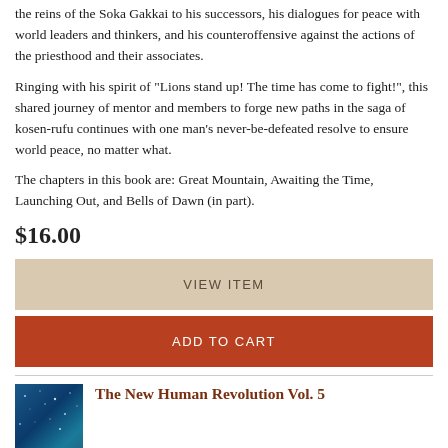the reins of the Soka Gakkai to his successors, his dialogues for peace with world leaders and thinkers, and his counteroffensive against the actions of the priesthood and their associates.
Ringing with his spirit of "Lions stand up! The time has come to fight!", this shared journey of mentor and members to forge new paths in the saga of kosen-rufu continues with one man's never-be-defeated resolve to ensure world peace, no matter what.
The chapters in this book are: Great Mountain, Awaiting the Time, Launching Out, and Bells of Dawn (in part).
$16.00
VIEW ITEM
ADD TO CART
[Figure (photo): Book cover thumbnail for The New Human Revolution Vol. 5, blue/teal colored cover with starry night imagery]
The New Human Revolution Vol. 5